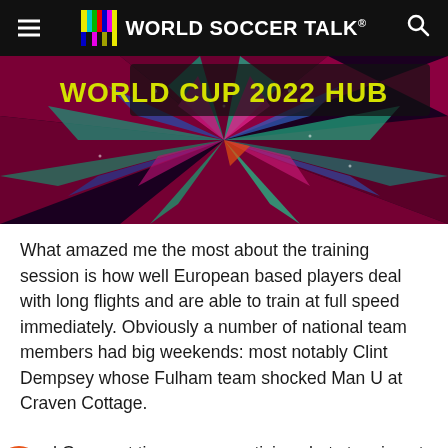WORLD SOCCER TALK
[Figure (illustration): World Cup 2022 Hub banner image with colorful geometric kaleidoscope pattern on dark background with yellow text saying WORLD CUP 2022 HUB]
What amazed me the most about the training session is how well European based players deal with long flights and are able to train at full speed immediately. Obviously a number of national team members had big weekends: most notably Clint Dempsey whose Fulham team shocked Man U at Craven Cottage.
Brad Guzan at times was practicing shot stopping at the other end and I must say for a guy who got